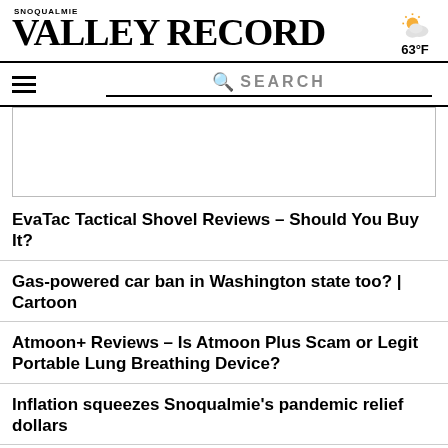SNOQUALMIE VALLEY RECORD
63°F
[Figure (screenshot): Partly cloudy weather icon with sun and cloud]
[Figure (screenshot): Navigation bar with hamburger menu and search bar]
[Figure (screenshot): Advertisement placeholder box]
EvaTac Tactical Shovel Reviews – Should You Buy It?
Gas-powered car ban in Washington state too? | Cartoon
Atmoon+ Reviews – Is Atmoon Plus Scam or Legit Portable Lung Breathing Device?
Inflation squeezes Snoqualmie's pandemic relief dollars
LumbarCorrect Reviews – Scam or Legit LumbarCorrect Belt to Buy?